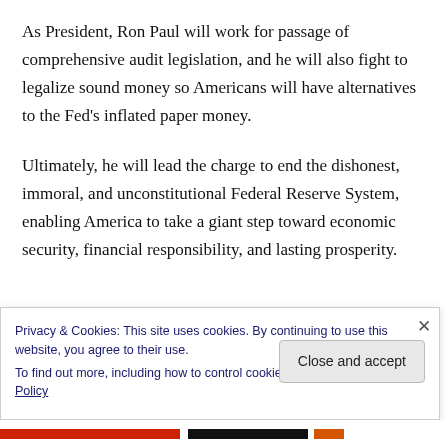As President, Ron Paul will work for passage of comprehensive audit legislation, and he will also fight to legalize sound money so Americans will have alternatives to the Fed's inflated paper money.
Ultimately, he will lead the charge to end the dishonest, immoral, and unconstitutional Federal Reserve System, enabling America to take a giant step toward economic security, financial responsibility, and lasting prosperity.
Privacy & Cookies: This site uses cookies. By continuing to use this website, you agree to their use.
To find out more, including how to control cookies, see here: Cookie Policy